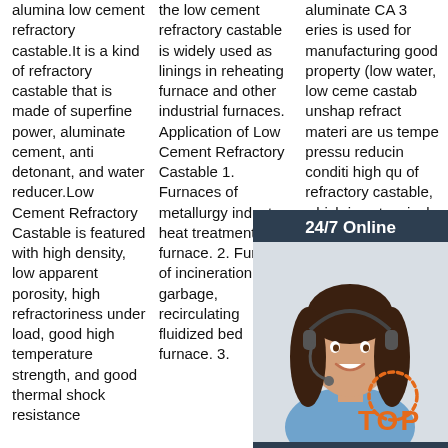alumina low cement refractory castable.It is a kind of refractory castable that is made of superfine power, aluminate cement, anti detonant, and water reducer.Low Cement Refractory Castable is featured with high density, low apparent porosity, high refractoriness under load, good high temperature strength, and good thermal shock resistance
the low cement refractory castable is widely used as linings in reheating furnace and other industrial furnaces. Application of Low Cement Refractory Castable 1. Furnaces of metallurgy industry, heat treatment furnace. 2. Furnace of incineration of garbage, recirculating fluidized bed furnace. 3.
aluminate CA 3 eries is used for manufacturing good property (low water, low ceme castab unshap refract materi are us tempe pressu reducin conditi high qu of refractory castable, which is extensively applied in chemical industry, metallurgical
[Figure (illustration): Customer service chat widget with photo of woman wearing headset, 24/7 Online header, Click here for free chat text, and QUOTATION button]
[Figure (logo): TOP logo with orange dotted circle and orange text TOP]